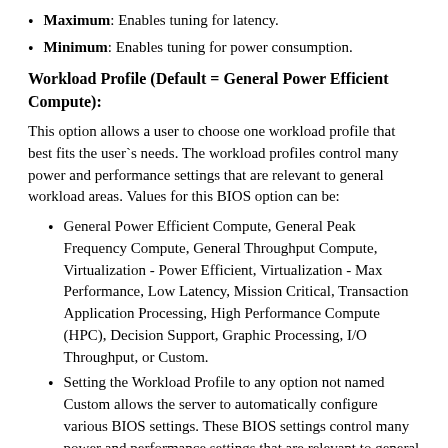Maximum: Enables tuning for latency.
Minimum: Enables tuning for power consumption.
Workload Profile (Default = General Power Efficient Compute):
This option allows a user to choose one workload profile that best fits the user`s needs. The workload profiles control many power and performance settings that are relevant to general workload areas. Values for this BIOS option can be:
General Power Efficient Compute, General Peak Frequency Compute, General Throughput Compute, Virtualization - Power Efficient, Virtualization - Max Performance, Low Latency, Mission Critical, Transaction Application Processing, High Performance Compute (HPC), Decision Support, Graphic Processing, I/O Throughput, or Custom.
Setting the Workload Profile to any option not named Custom allows the server to automatically configure various BIOS settings. These BIOS settings control many power and performance settings that are relevant to general workload areas that fit the profile name.
Setting the Workload Profile to Custom allows a user to set any BIOS setting to any supported setting. Choosing Custom after selecting an initial profile does not change